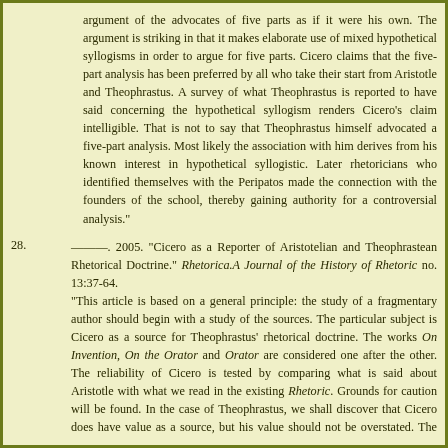argument of the advocates of five parts as if it were his own. The argument is striking in that it makes elaborate use of mixed hypothetical syllogisms in order to argue for five parts. Cicero claims that the five-part analysis has been preferred by all who take their start from Aristotle and Theophrastus. A survey of what Theophrastus is reported to have said concerning the hypothetical syllogism renders Cicero's claim intelligible. That is not to say that Theophrastus himself advocated a five-part analysis. Most likely the association with him derives from his known interest in hypothetical syllogistic. Later rhetoricians who identified themselves with the Peripatos made the connection with the founders of the school, thereby gaining authority for a controversial analysis."
28. ———. 2005. "Cicero as a Reporter of Aristotelian and Theophrastean Rhetorical Doctrine." Rhetorica.A Journal of the History of Rhetoric no. 13:37-64. "This article is based on a general principle: the study of a fragmentary author should begin with a study of the sources. The particular subject is Cicero as a source for Theophrastus' rhetorical doctrine. The works On Invention, On the Orator and Orator are considered one after the other. The reliability of Cicero is tested by comparing what is said about Aristotle with what we read in the existing Rhetoric. Grounds for caution will be found. In the case of Theophrastus, we shall discover that Cicero does have value as a source, but his value should not be overstated. The reports are often quite general and sometimes they involve Ciceronian additions."